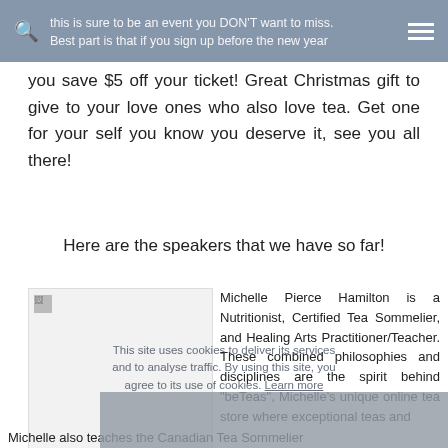this is sure to be an event you DON'T want to miss. Best part is that if you sign up before the new year
you save $5 off your ticket! Great Christmas gift to give to your love ones who also love tea. Get one for your self you know you deserve it, see you all there!
Here are the speakers that we have so far!
[Figure (photo): Broken image placeholder for speaker photo]
Michelle Pierce Hamilton is a Nutritionist, Certified Tea Sommelier, and Healing Arts Practitioner/Teacher. These combined philosophies and disciplines are the spirit behind "beTeas", Michelle's unique online tea store where exceptional teas and tea experiences now come alive in London, Ontario.
This site uses cookies to deliver its services and to analyse traffic. By using this site, you agree to its use of cookies. Learn more
Michelle also teaches the Canadian Tea Sommelier